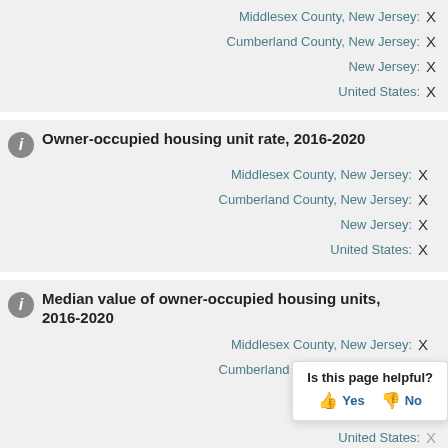Middlesex County, New Jersey: X
Cumberland County, New Jersey: X
New Jersey: X
United States: X
Owner-occupied housing unit rate, 2016-2020
Middlesex County, New Jersey: X
Cumberland County, New Jersey: X
New Jersey: X
United States: X
Median value of owner-occupied housing units, 2016-2020
Middlesex County, New Jersey: X
Cumberland County, New Jersey: X
X
Is this page helpful? Yes No